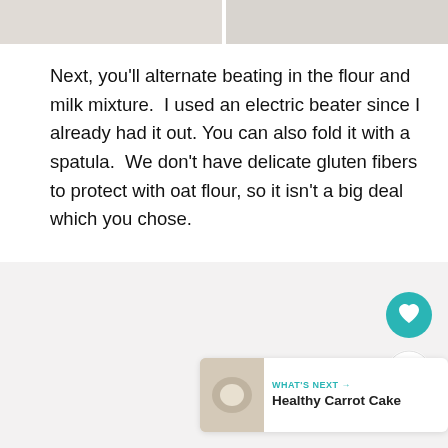[Figure (photo): Two food preparation photos side by side at the top of the page]
Next, you'll alternate beating in the flour and milk mixture.  I used an electric beater since I already had it out. You can also fold it with a spatula.  We don't have delicate gluten fibers to protect with oat flour, so it isn't a big deal which you chose.
[Figure (photo): Large gray/white background area with a 'What's Next' card showing a Healthy Carrot Cake thumbnail, a teal heart/favorite button, and a share button]
WHAT'S NEXT → Healthy Carrot Cake